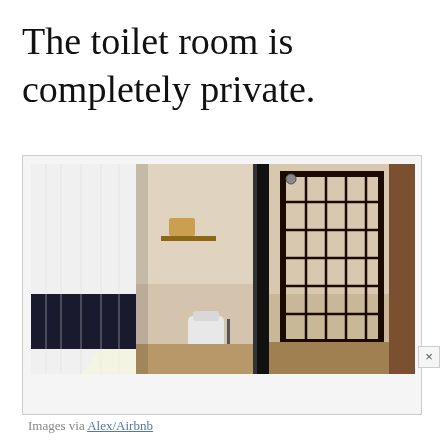The toilet room is completely private.
[Figure (photo): Photo of a bathroom showing a white and navy curtain on the left, an open door revealing a private toilet room with a toilet and shelf in the center, and a separate shower area with black metal grid shower door on the right. Wood-look flooring visible.]
Images via Alex/Airbnb